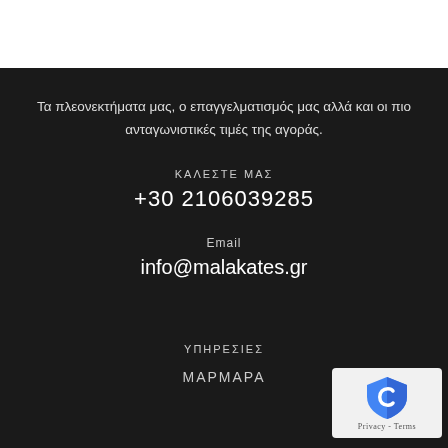Τα πλεονεκτήματα μας, ο επαγγελματισμός μας αλλά και οι πιο ανταγωνιστικές τιμές της αγοράς.
ΚΑΛΕΣΤΕ ΜΑΣ
+30 2106039285
Email
info@malakates.gr
ΥΠΗΡΕΣΙΕΣ
ΜΑΡΜΑΡΑ
[Figure (logo): Google reCAPTCHA badge with shield icon and Privacy - Terms text]